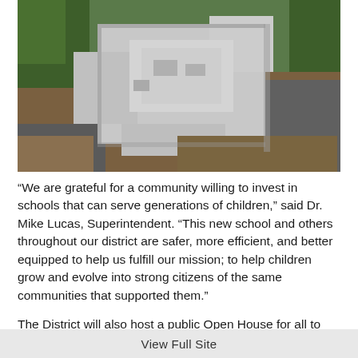[Figure (photo): Aerial drone photograph of a school building under construction, showing flat rooftops in a cross/plus shape layout, surrounded by construction dirt, roads, and autumn trees.]
“We are grateful for a community willing to invest in schools that can serve generations of children,” said Dr. Mike Lucas, Superintendent. “This new school and others throughout our district are safer, more efficient, and better equipped to help us fulfill our mission; to help children grow and evolve into strong citizens of the same communities that supported them.”
The District will also host a public Open House for all to tour Prairie Lane on August 10, 2021. For more
View Full Site